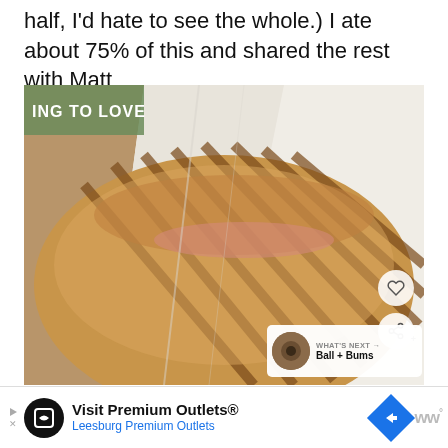half, I'd hate to see the whole.) I ate about 75% of this and shared the rest with Matt
[Figure (photo): Close-up photo of a grilled panini sandwich wrapped in white parchment paper, with visible grill marks on the bread. A label reading 'ING TO LOVE' is partially visible in the upper left. Overlay buttons include a heart icon and a share icon on the right side. A 'What's Next' thumbnail preview showing 'Ball + Bums' appears in the lower right corner.]
Visit Premium Outlets® Leesburg Premium Outlets